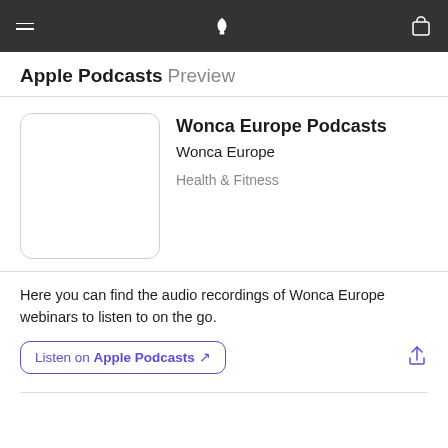Apple Podcasts Preview
Wonca Europe Podcasts
Wonca Europe
Health & Fitness
Here you can find the audio recordings of Wonca Europe webinars to listen to on the go.
Listen on Apple Podcasts ↗